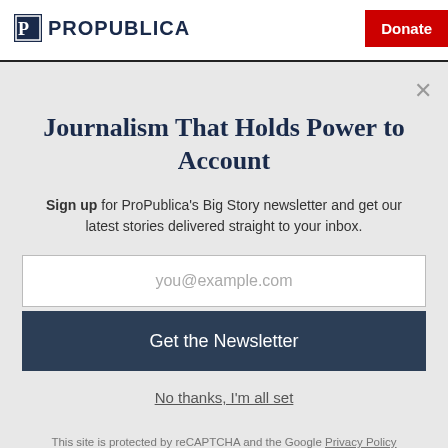ProPublica | Donate
includes terrorism, intelligence and organized crime.
Journalism That Holds Power to Account
Sign up for ProPublica's Big Story newsletter and get our latest stories delivered straight to your inbox.
you@example.com
Get the Newsletter
No thanks, I'm all set
This site is protected by reCAPTCHA and the Google Privacy Policy and Terms of Service apply.